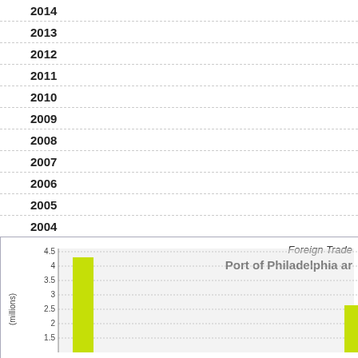[Figure (bar-chart): Horizontal bar chart showing years 2003-2014 along the left axis, bars extending to the right (values not visible in crop). Bottom portion shows a vertical bar chart titled 'Foreign Trade, Port of Philadelphia and...' with y-axis going up to 4.5 millions, showing one visible tall bar around 4.3.]